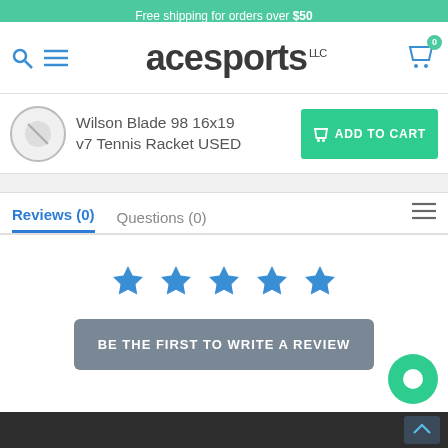Free shipping for orders over $50
[Figure (logo): Ace Sports LLC logo with search and menu icons on left, shopping cart icon on right]
Wilson Blade 98 16x19 v7 Tennis Racket USED
ADD TO CART
Reviews (0)   Questions (0)
[Figure (illustration): Five blue star rating icons]
BE THE FIRST TO WRITE A REVIEW